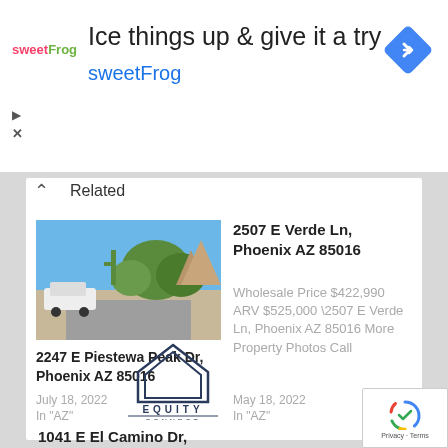[Figure (screenshot): sweetFrog advertisement banner with logo, text 'Ice things up & give it a try', brand name 'sweetFrog', and Google Maps navigation icon]
Related
[Figure (photo): Exterior photo of a property at 2247 E Piestewa Peak Dr, Phoenix AZ 85016 showing desert landscaping and a parked white car]
2247 E Piestewa Peak Dr, Phoenix AZ 85016
July 18, 2022
In "AZ"
2507 E Verde Ln, Phoenix AZ 85016
Wholesale Price $422,990 ARV $525,000 \2507 E Verde Ln, Phoenix AZ 85016 More Property Photos Call
May 18, 2022
In "AZ"
[Figure (logo): Equity Connect logo with house outline icon above the text 'EQUITY CONNECT']
1041 E El Camino Dr,